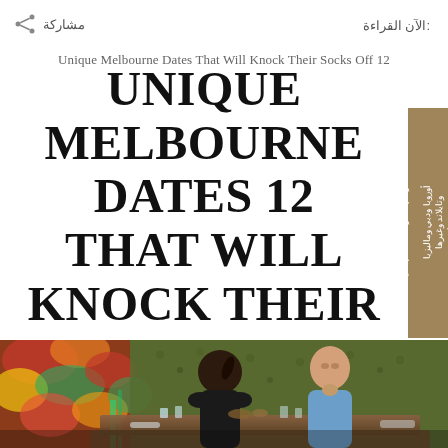الآن القراءة:
مشاركة
Unique Melbourne Dates That Will Knock Their Socks Off 12
UNIQUE MELBOURNE DATES 12 THAT WILL KNOCK THEIR SOCKS OFF
[Figure (photo): Couple sitting at a restaurant table with a green and red floral wall background, man in blue shirt resting chin on hand, woman with dark hair in ponytail. Table with drinks and glasses.]